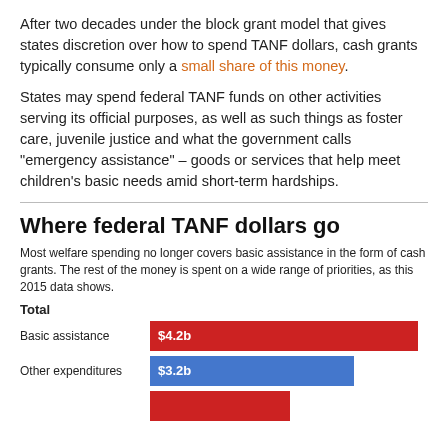After two decades under the block grant model that gives states discretion over how to spend TANF dollars, cash grants typically consume only a small share of this money.
States may spend federal TANF funds on other activities serving its official purposes, as well as such things as foster care, juvenile justice and what the government calls "emergency assistance" – goods or services that help meet children's basic needs amid short-term hardships.
Where federal TANF dollars go
Most welfare spending no longer covers basic assistance in the form of cash grants. The rest of the money is spent on a wide range of priorities, as this 2015 data shows.
Total
[Figure (bar-chart): Where federal TANF dollars go]